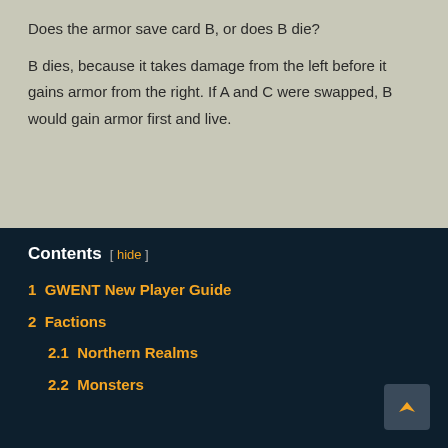Does the armor save card B, or does B die?
B dies, because it takes damage from the left before it gains armor from the right. If A and C were swapped, B would gain armor first and live.
Contents [ hide ]
1  GWENT New Player Guide
2  Factions
2.1  Northern Realms
2.2  Monsters